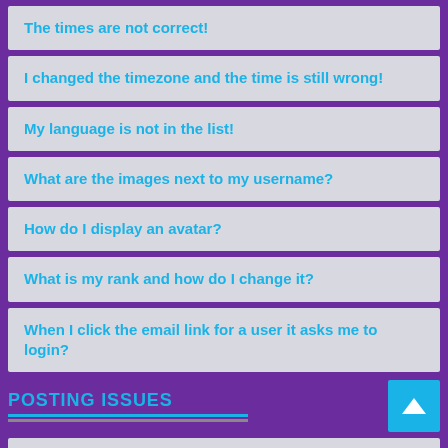The times are not correct!
I changed the timezone and the time is still wrong!
My language is not in the list!
What are the images next to my username?
How do I display an avatar?
What is my rank and how do I change it?
When I click the email link for a user it asks me to login?
POSTING ISSUES
How do I create a new topic or post a reply?